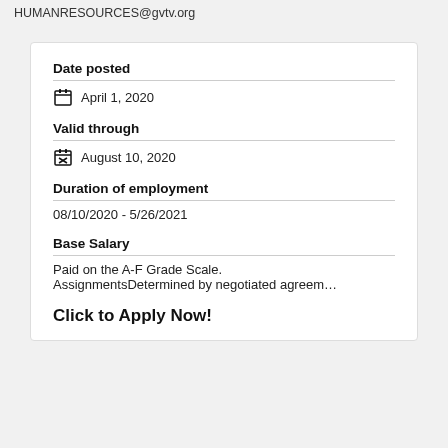HUMANRESOURCES@gvtv.org
Date posted
April 1, 2020
Valid through
August 10, 2020
Duration of employment
08/10/2020 - 5/26/2021
Base Salary
Paid on the A-F Grade Scale. AssignmentsDetermined by negotiated agreem…
Click to Apply Now!